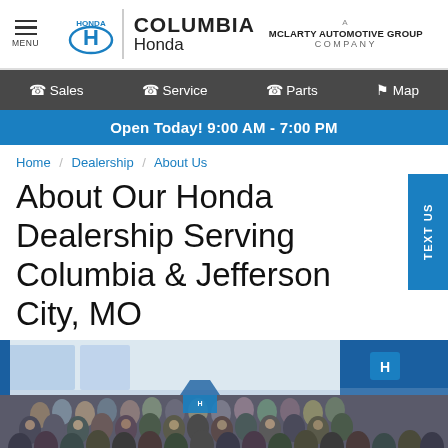[Figure (logo): Columbia Honda dealership header with Honda wing logo, Columbia Honda text, and McLarty Automotive Group company branding, plus hamburger menu button]
Sales  Service  Parts  Map
Open Today! 9:00 AM - 7:00 PM
Home / Dealership / About Us
About Our Honda Dealership Serving Columbia & Jefferson City, MO
[Figure (photo): Interior photo of the Columbia Honda dealership showroom with large group of staff/employees posing together, Honda signage and vehicle displays visible in background]